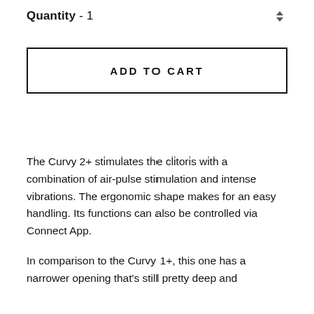Quantity - 1
ADD TO CART
The Curvy 2+ stimulates the clitoris with a combination of air-pulse stimulation and intense vibrations. The ergonomic shape makes for an easy handling. Its functions can also be controlled via Connect App.
In comparison to the Curvy 1+, this one has a narrower opening that's still pretty deep and